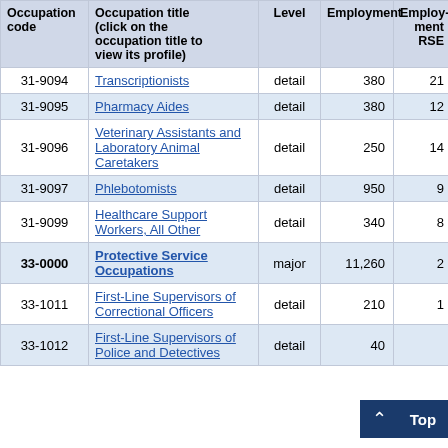| Occupation code | Occupation title (click on the occupation title to view its profile) | Level | Employment | Employment RSE |
| --- | --- | --- | --- | --- |
| 31-9094 | Transcriptionists | detail | 380 | 21 |
| 31-9095 | Pharmacy Aides | detail | 380 | 12 |
| 31-9096 | Veterinary Assistants and Laboratory Animal Caretakers | detail | 250 | 14 |
| 31-9097 | Phlebotomists | detail | 950 | 9 |
| 31-9099 | Healthcare Support Workers, All Other | detail | 340 | 8 |
| 33-0000 | Protective Service Occupations | major | 11,260 | 2 |
| 33-1011 | First-Line Supervisors of Correctional Officers | detail | 210 | 1 |
| 33-1012 | First-Line Supervisors of Police and Detectives | detail | 40 |  |